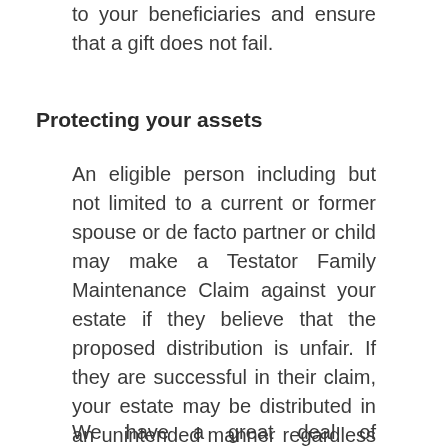to your beneficiaries and ensure that a gift does not fail.
Protecting your assets
An eligible person including but not limited to a current or former spouse or de facto partner or child may make a Testator Family Maintenance Claim against your estate if they believe that the proposed distribution is unfair. If they are successful in their claim, your estate may be distributed in an unintended manner regardless of your directions in your Will.
We have a great deal of experience in these